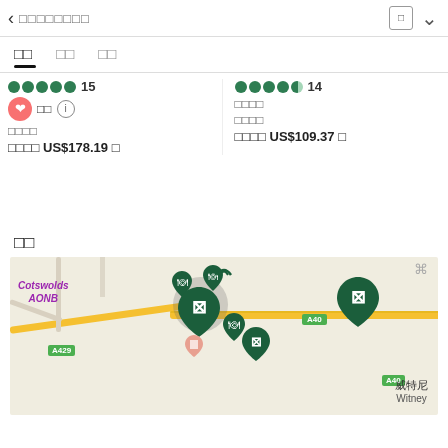[Figure (screenshot): Mobile app header with back arrow, navigation text (garbled CJK), and icons]
□□ □□ □□
—
[Figure (infographic): Two hotel listing cards side by side. Left: 5 green dots rating with score 15, heart/save button, garbled text, price US$178.19. Right: 5 green dots rating with score 14, garbled text, price US$109.37.]
□□
[Figure (map): Map showing Cotswolds AONB area with roads A429 and A40, multiple dark green map pins (restaurant/ticket icons) clustered near center, Witney label bottom right]